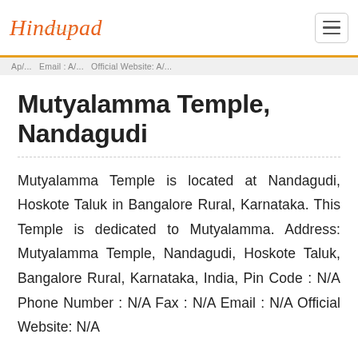Hindupad
Ap/... Email: A/... Official Website: A/...
Mutyalamma Temple, Nandagudi
Mutyalamma Temple is located at Nandagudi, Hoskote Taluk in Bangalore Rural, Karnataka. This Temple is dedicated to Mutyalamma. Address: Mutyalamma Temple, Nandagudi, Hoskote Taluk, Bangalore Rural, Karnataka, India, Pin Code : N/A Phone Number : N/A Fax : N/A Email : N/A Official Website: N/A